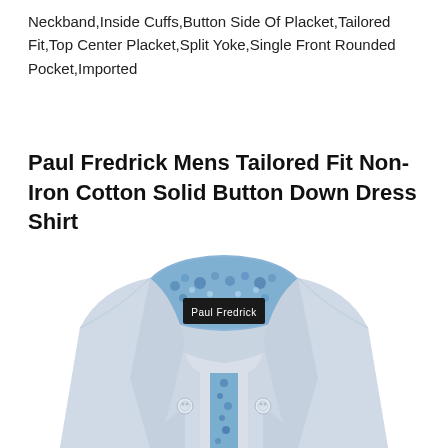Neckband,Inside Cuffs,Button Side Of Placket,Tailored Fit,Top Center Placket,Split Yoke,Single Front Rounded Pocket,Imported
Paul Fredrick Mens Tailored Fit Non-Iron Cotton Solid Button Down Dress Shirt
[Figure (photo): Product photo of a light blue Paul Fredrick men's dress shirt with button-down collar, floral blue patterned inner collar and placket lining, and a black label reading 'Paul Fredrick' on the inner neckband. The shirt is shown folded and displayed from the front, highlighting the collar area.]